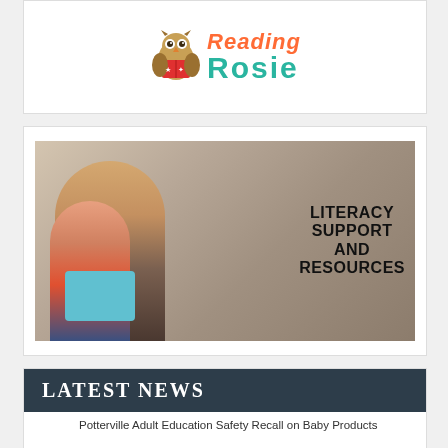[Figure (logo): Reading Rosie logo with owl mascot reading a book, orange italic 'Reading' text and teal bold 'Rosie' text]
[Figure (photo): Woman and young girl reading a book together, with bold text overlay reading 'LITERACY SUPPORT AND RESOURCES']
LATEST NEWS
Potterville Adult Education Safety Recall on Baby Products